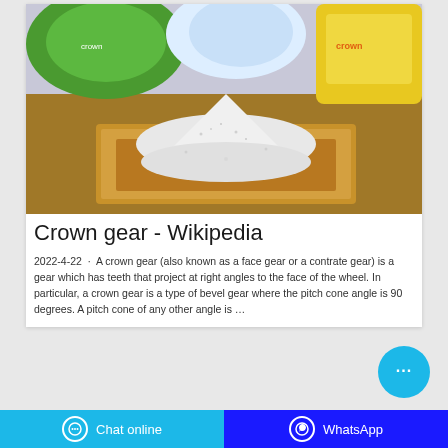[Figure (photo): A pile of white granular substance (salt or sugar) on a wooden tray, with colorful packaging bags in the background]
Crown gear - Wikipedia
2022-4-22  ·  A crown gear (also known as a face gear or a contrate gear) is a gear which has teeth that project at right angles to the face of the wheel. In particular, a crown gear is a type of bevel gear where the pitch cone angle is 90 degrees. A pitch cone of any other angle is …
Chat online | WhatsApp